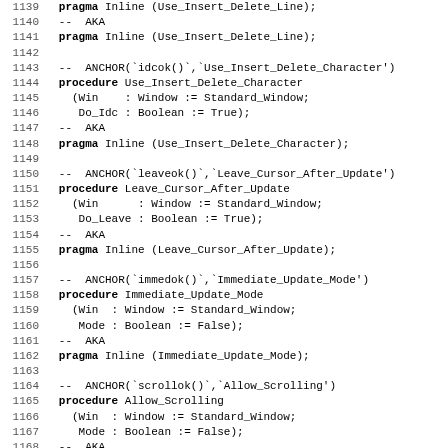Code listing lines 1140-1171, Ada source code with procedure declarations for Use_Insert_Delete_Line, Use_Insert_Delete_Character, Leave_Cursor_After_Update, Immediate_Update_Mode, Allow_Scrolling, and beginning of Scrolling_Allowed function.